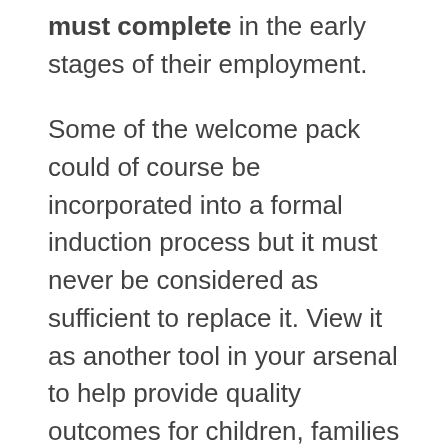must complete in the early stages of their employment.
Some of the welcome pack could of course be incorporated into a formal induction process but it must never be considered as sufficient to replace it. View it as another tool in your arsenal to help provide quality outcomes for children, families and staff members!
A welcome pack type orientation may seem like a simple process that couldn't possibly provide the outcomes I have mentioned but believe me, it really does work toward